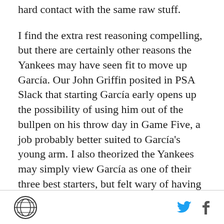hard contact with the same raw stuff.
I find the extra rest reasoning compelling, but there are certainly other reasons the Yankees may have seen fit to move up García. Our John Griffin posited in PSA Slack that starting García early opens up the possibility of using him out of the bullpen on his throw day in Game Five, a job probably better suited to García's young arm. I also theorized the Yankees may simply view García as one of their three best starters, but felt wary of having the youngster make his playoff debut in a Game Three that could have been a must-win game or a putaway game, and instead reserved that task for the veteran Tanaka.
SB Nation logo, Twitter icon, Facebook icon